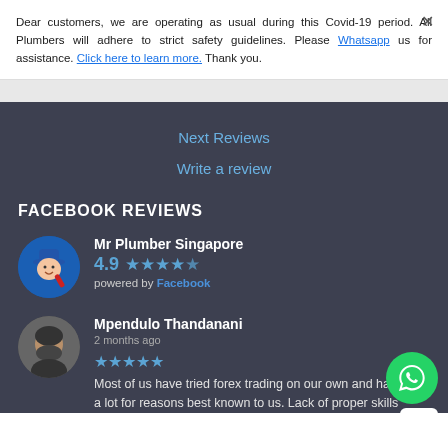Dear customers, we are operating as usual during this Covid-19 period. All Plumbers will adhere to strict safety guidelines. Please Whatsapp us for assistance. Click here to learn more. Thank you.
Next Reviews
Write a review
FACEBOOK REVIEWS
Mr Plumber Singapore 4.9 ★★★★½ powered by Facebook
Mpendulo Thandanani
2 months ago
★★★★★ Most of us have tried forex trading on our own and have lost a lot for reasons best known to us. Lack of proper skills...